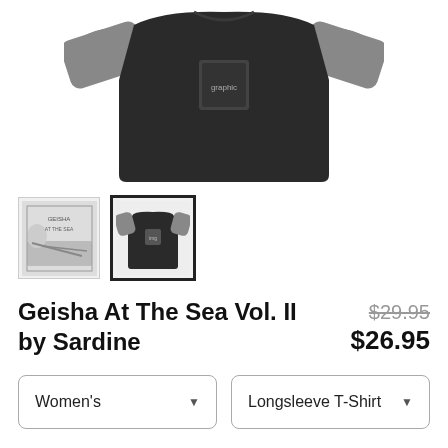[Figure (photo): Product photo of a dark charcoal/black baseball-style raglan longsleeve t-shirt with gray sleeves, shown laid flat from above. A small graphic print is visible on the front chest area.]
[Figure (photo): Thumbnail 1: small graphic design image showing a geisha figure in a reclining pose, black and white illustration.]
[Figure (photo): Thumbnail 2 (selected, bold border): small photo of the dark raglan longsleeve t-shirt product.]
Geisha At The Sea Vol. II by Sardine
$29.95 $26.95
Women's
Longsleeve T-Shirt
SELECT YOUR FIT